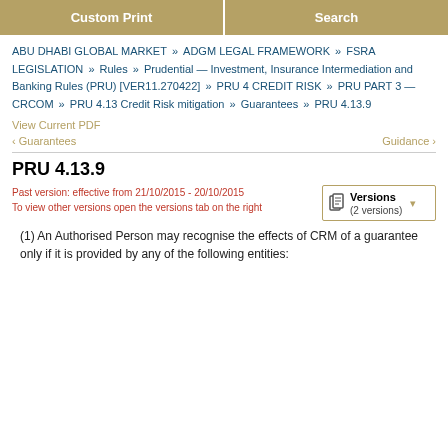[Figure (screenshot): Navigation buttons: Custom Print and Search]
ABU DHABI GLOBAL MARKET » ADGM LEGAL FRAMEWORK » FSRA LEGISLATION » Rules » Prudential — Investment, Insurance Intermediation and Banking Rules (PRU) [VER11.270422] » PRU 4 CREDIT RISK » PRU PART 3 — CRCOM » PRU 4.13 Credit Risk mitigation » Guarantees » PRU 4.13.9
View Current PDF
‹ Guarantees   Guidance ›
PRU 4.13.9
Past version: effective from 21/10/2015 - 20/10/2015
To view other versions open the versions tab on the right
(1) An Authorised Person may recognise the effects of CRM of a guarantee only if it is provided by any of the following entities: